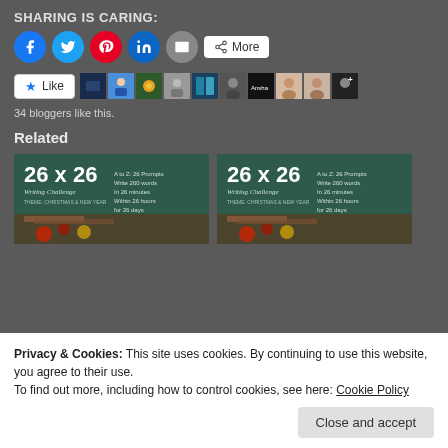SHARING IS CARING:
[Figure (screenshot): Social share buttons row: Facebook (blue circle), Twitter (cyan circle), Pinterest (red circle), LinkedIn (blue circle), Email (grey circle), More button (white rounded rectangle)]
[Figure (screenshot): Like button with star icon, followed by a strip of 10 avatar thumbnails of bloggers]
34 bloggers like this.
Related
[Figure (screenshot): Two related article thumbnail images side by side, both showing '26 x 26 Writing Challenge' on a dark teal chalkboard background with Christmas/New Year themed text and decorations.]
Privacy & Cookies: This site uses cookies. By continuing to use this website, you agree to their use.
To find out more, including how to control cookies, see here: Cookie Policy